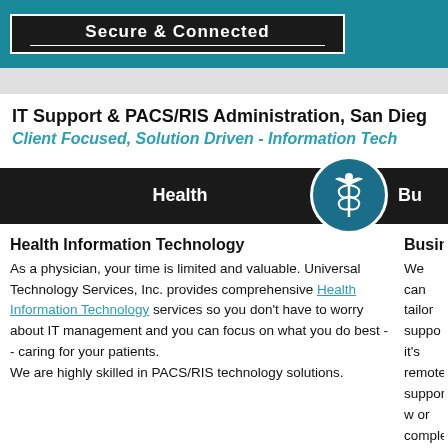Secure & Connected
IT Support & PACS/RIS Administration, San Diego
Client Focused, Solution Driven - Information Tech
Health
Bu
Health Information Technology
As a physician, your time is limited and valuable. Universal Technology Services, Inc. provides comprehensive Health Information Technology services so you don't have to worry about IT management and you can focus on what you do best -- caring for your patients. We are highly skilled in PACS/RIS technology solutions.
Business IT Sol
We can tailor suppo it's remote support w or complete outsour way we've got you c your Business with a unique business nee